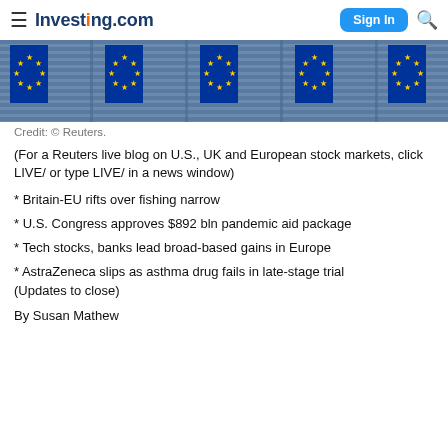Investing.com
[Figure (photo): EU flags waving in front of a building with horizontal blinds/slats in the background]
Credit: © Reuters.
(For a Reuters live blog on U.S., UK and European stock markets, click LIVE/ or type LIVE/ in a news window)
* Britain-EU rifts over fishing narrow
* U.S. Congress approves $892 bln pandemic aid package
* Tech stocks, banks lead broad-based gains in Europe
* AstraZeneca slips as asthma drug fails in late-stage trial
(Updates to close)
By Susan Mathew